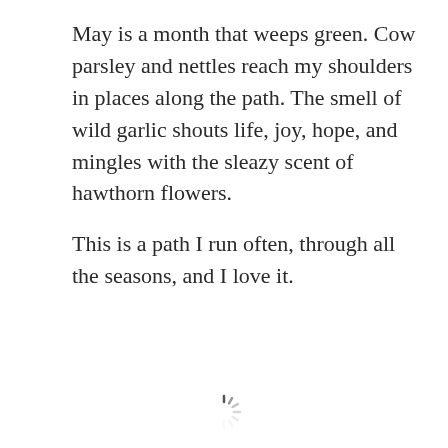May is a month that weeps green. Cow parsley and nettles reach my shoulders in places along the path. The smell of wild garlic shouts life, joy, hope, and mingles with the sleazy scent of hawthorn flowers.
This is a path I run often, through all the seasons, and I love it.
[Figure (other): A loading spinner icon at the bottom center of the page]